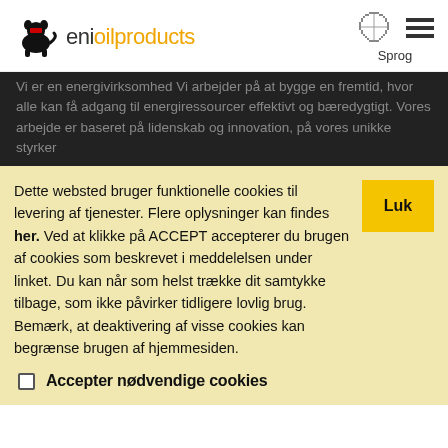[Figure (logo): Eni oil products logo with black dog/cat mascot and orange text 'enioilproducts']
[Figure (other): Globe/world map pixel icon and hamburger menu icon with 'Sprog' label below globe]
Vi er en energivirksomhed Vi arbejder på at bygge en fremtid, hvor alle kan få adgang til energiressourcer effektivt og bæredygtigt. Vores arbejde er baseret på lidenskab og innovation, på vores unikke styrker
Dette websted bruger funktionelle cookies til levering af tjenester. Flere oplysninger kan findes her. Ved at klikke på ACCEPT accepterer du brugen af cookies som beskrevet i meddelelsen under linket. Du kan når som helst trække dit samtykke tilbage, som ikke påvirker tidligere lovlig brug. Bemærk, at deaktivering af visse cookies kan begrænse brugen af hjemmesiden.
Accepter nødvendige cookies